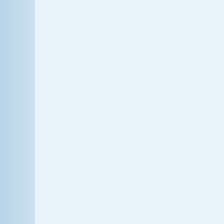That said, there are a few Streisand... one of them is the A-side of today's... Streisand's fourth album My Name... 1965. The album was the second s... Name Is Barbra, but only the medle... The rest of the album was comprise... the U.S. album charts and was cert... produced by Robert Mersey with ar...

"He Touched Me" was written by Ira... musical Drat! The Cat. The musical... society folk of New York City during... ran for only eight performances bef... Me" and was sung by Elliot Gould,... Columbia Records, which was Stre... probably why both sides of today's...

The single reached #53 on the sing... Him" was also from Drat! The Cat a... Touched Me" was released as the f... the My Name Is Barbra...Two albu...